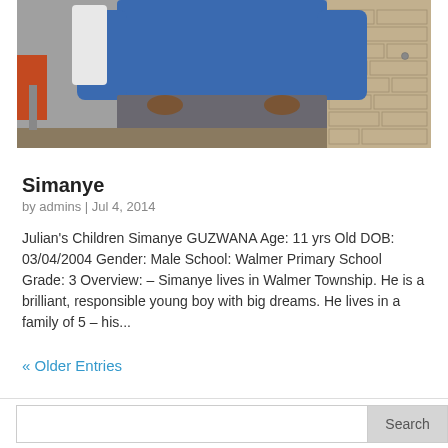[Figure (photo): Photo showing lower body of a person wearing a blue sweater and grey trousers, standing near a brick wall. Part of a chair is visible on the left.]
Simanye
by admins | Jul 4, 2014
Julian's Children Simanye GUZWANA Age: 11 yrs Old DOB: 03/04/2004 Gender: Male School: Walmer Primary School Grade: 3 Overview: – Simanye lives in Walmer Township. He is a brilliant, responsible young boy with big dreams. He lives in a family of 5 – his...
« Older Entries